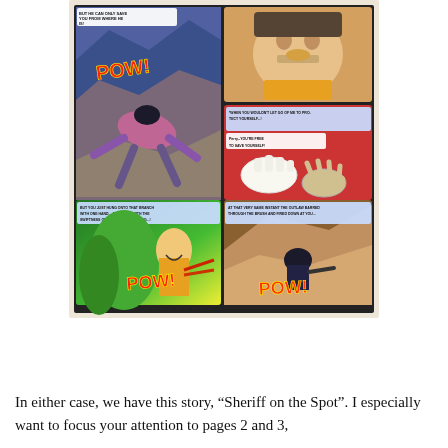[Figure (illustration): A comic book page showing four action panels with the word POW appearing in multiple panels. Top-left panel shows a figure falling/flying through rocky terrain. Top-right upper panel shows a close-up of a man's face. Top-right lower panel (red background) shows hands reaching/grasping with speech bubbles. Bottom-left panel shows a smiling man with POW and a gun. Bottom-right panel shows a figure on rocky terrain with POW.]
In either case, we have this story, "Sheriff on the Spot". I especially want to focus your attention to pages 2 and 3,